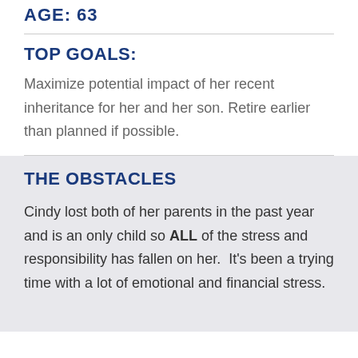AGE: 63
TOP GOALS:
Maximize potential impact of her recent inheritance for her and her son. Retire earlier than planned if possible.
THE OBSTACLES
Cindy lost both of her parents in the past year and is an only child so ALL of the stress and responsibility has fallen on her.  It's been a trying time with a lot of emotional and financial stress.